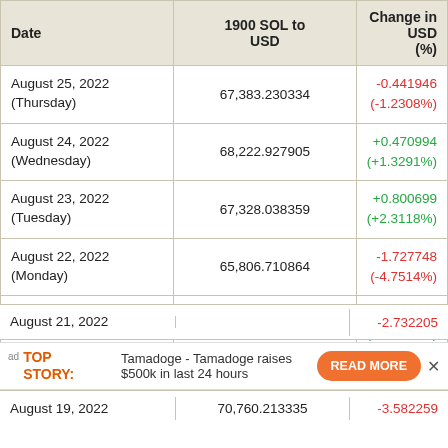| Date | 1900 SOL to USD | Change in USD (%) |
| --- | --- | --- |
| August 25, 2022 (Thursday) | 67,383.230334 | -0.441946
(-1.2308%) |
| August 24, 2022 (Wednesday) | 68,222.927905 | +0.470994
(+1.3291%) |
| August 23, 2022 (Tuesday) | 67,328.038359 | +0.800699
(+2.3118%) |
| August 22, 2022 (Monday) | 65,806.710864 | -1.727748
(-4.7514%) |
| August 21, 2022 (Sunday) | 69,089.431923 | +1.852846
(+5.3690%) |
| August 21, 2022 ... |  | -2.732205 |
| August 19, 2022 | 70,760.213335 | -3.582259 |